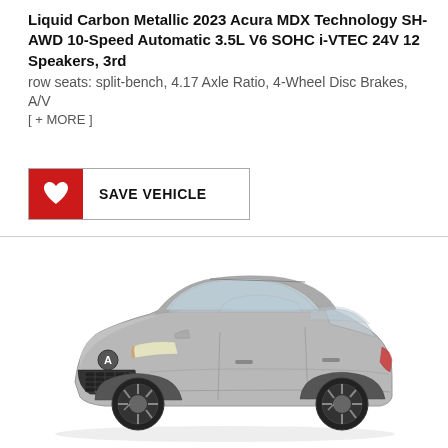Liquid Carbon Metallic 2023 Acura MDX Technology SH-AWD 10-Speed Automatic 3.5L V6 SOHC i-VTEC 24V 12 Speakers, 3rd row seats: split-bench, 4.17 Axle Ratio, 4-Wheel Disc Brakes, A/V [ + MORE ]
[Figure (other): Red heart icon button with text SAVE VEHICLE]
[Figure (photo): Silver/gray 2023 Acura MDX SUV shown in a 3/4 front view on white background]